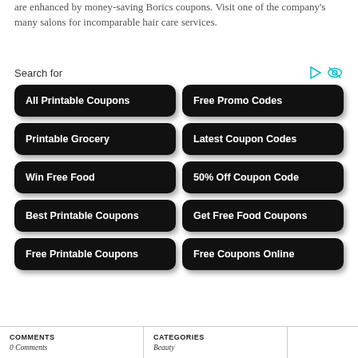are enhanced by money-saving Borics coupons. Visit one of the company's many salons for incomparable hair care services.
Search for
[Figure (infographic): A 2-column grid of 10 dark rounded-rectangle buttons with white bold text: All Printable Coupons, Free Promo Codes, Printable Grocery, Latest Coupon Codes, Win Free Food, 50% Off Coupon Code, Best Printable Coupons, Get Free Food Coupons, Free Printable Coupons, Free Coupons Online]
| COMMENTS | CATEGORIES |  |
| --- | --- | --- |
| 0 Comments | Beauty |  |